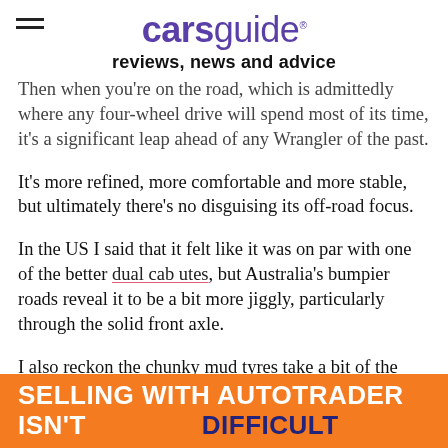carsguide reviews, news and advice
Then when you're on the road, which is admittedly where any four-wheel drive will spend most of its time, it's a significant leap ahead of any Wrangler of the past.
It's more refined, more comfortable and more stable, but ultimately there's no disguising its off-road focus.
In the US I said that it felt like it was on par with one of the better dual cab utes, but Australia's bumpier roads reveal it to be a bit more jiggly, particularly through the solid front axle.
I also reckon the chunky mud tyres take a bit of the edge off the handling too, but I am a sucker for the sound of mud tyres rolling down bitumen at speed, and these rough edges are all th...
[Figure (other): Orange advertisement banner: 'SELLING WITH AUTOTRADER ISN'T DIFFICULT']